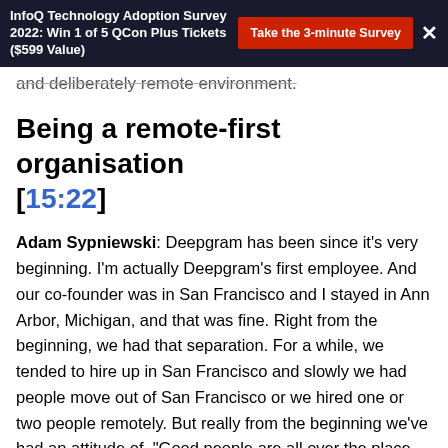InfoQ Technology Adoption Survey 2022: Win 1 of 5 QCon Plus Tickets ($599 Value) | Take the 3-minute Survey | X
and deliberately remote environment.
Being a remote-first organisation [15:22]
Adam Sypniewski: Deepgram has been since it's very beginning. I'm actually Deepgram's first employee. And our co-founder was in San Francisco and I stayed in Ann Arbor, Michigan, and that was fine. Right from the beginning, we had that separation. For a while, we tended to hire up in San Francisco and slowly we had people move out of San Francisco or we hired one or two people remotely. But really from the beginning we've had an attitude of, "Good people are all over the place. Let's find the